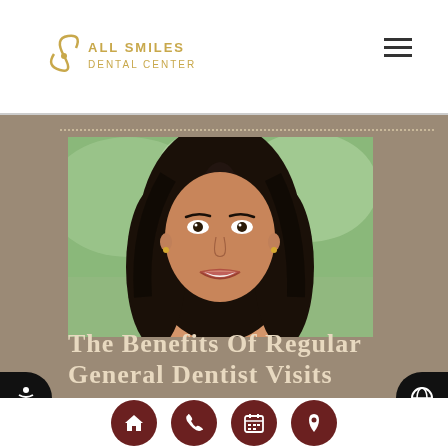All Smiles Dental Center
[Figure (photo): Portrait of a smiling young woman with dark hair, outdoors with green blurred background, white top, wearing small gold earrings]
The Benefits Of Regular General Dentist Visits
[Figure (infographic): Bottom navigation bar with four dark red circular icon buttons: home, phone, calendar, and location pin icons]